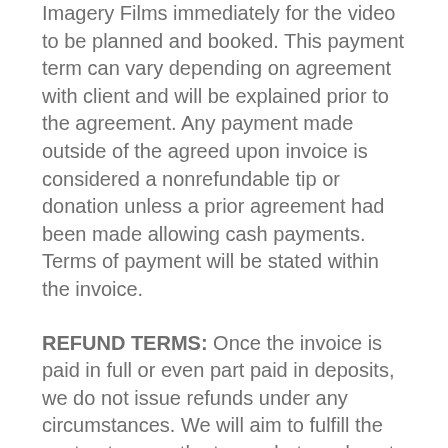Imagery Films immediately for the video to be planned and booked. This payment term can vary depending on agreement with client and will be explained prior to the agreement. Any payment made outside of the agreed upon invoice is considered a nonrefundable tip or donation unless a prior agreement had been made allowing cash payments. Terms of payment will be stated within the invoice.
REFUND TERMS: Once the invoice is paid in full or even part paid in deposits, we do not issue refunds under any circumstances. We will aim to fulfill the contract as per the terms, but we do not issue refunds if the client changes their mind at any stage of the process.
It is up to the purchaser to arrive at the shoot on time and prepared, Mental Imagery Films will not be held accountable for loss of shooting time or expenses incurred. Mental Imagery Films promise to